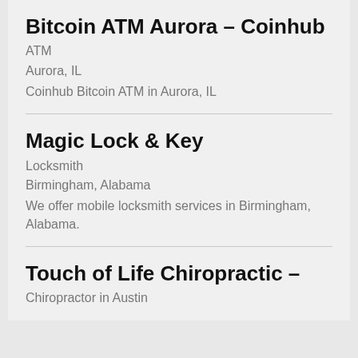Bitcoin ATM Aurora – Coinhub
ATM
Aurora, IL
Coinhub Bitcoin ATM in Aurora, IL
Magic Lock & Key
Locksmith
Birmingham, Alabama
We offer mobile locksmith services in Birmingham, Alabama.
Touch of Life Chiropractic –
Chiropractor in Austin